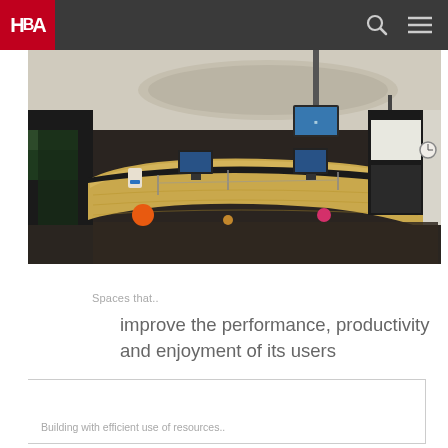HBA
[Figure (photo): Interior lobby photo showing a curved wooden reception desk with computer monitors, overhead screens, and circular ceiling element. Decorative orange and pink dots visible on the desk front.]
Spaces that..
improve the performance, productivity and enjoyment of its users
Building with efficient use of resources..